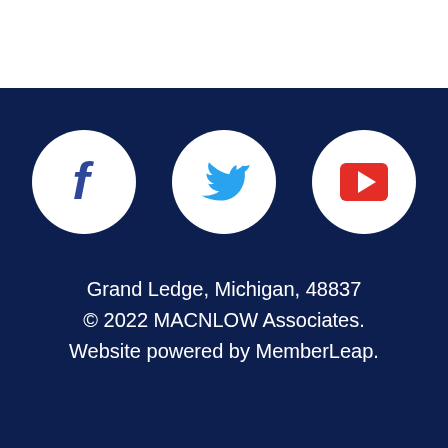[Figure (logo): Three social media icons in white circles on dark navy background: Facebook (dark blue F), Twitter (blue bird), YouTube (red square with white play button)]
Grand Ledge, Michigan, 48837
© 2022 MACNLOW Associates.
Website powered by MemberLeap.